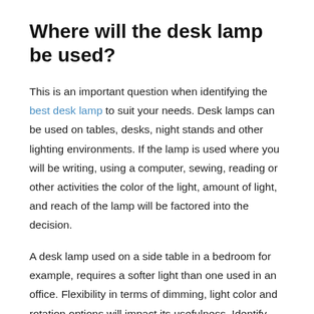Where will the desk lamp be used?
This is an important question when identifying the best desk lamp to suit your needs. Desk lamps can be used on tables, desks, night stands and other lighting environments. If the lamp is used where you will be writing, using a computer, sewing, reading or other activities the color of the light, amount of light, and reach of the lamp will be factored into the decision.
A desk lamp used on a side table in a bedroom for example, requires a softer light than one used in an office. Flexibility in terms of dimming, light color and rotation options will impact its usefulness. Identify your needs up front will ensure you are able to light up your particular space most efficiently.
Adjustable task lamps can have variable height settings so that